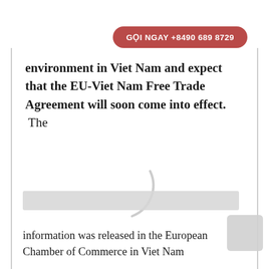GỌI NGAY +8490 689 8729
environment in Viet Nam and expect that the EU-Viet Nam Free Trade Agreement will soon come into effect.  The
information was released in the European Chamber of Commerce in Viet Nam